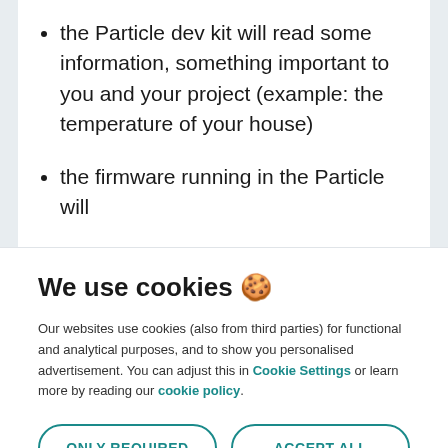the Particle dev kit will read some information, something important to you and your project (example: the temperature of your house)
the firmware running in the Particle will
We use cookies 🍪
Our websites use cookies (also from third parties) for functional and analytical purposes, and to show you personalised advertisement. You can adjust this in Cookie Settings or learn more by reading our cookie policy.
ONLY REQUIRED
ACCEPT ALL